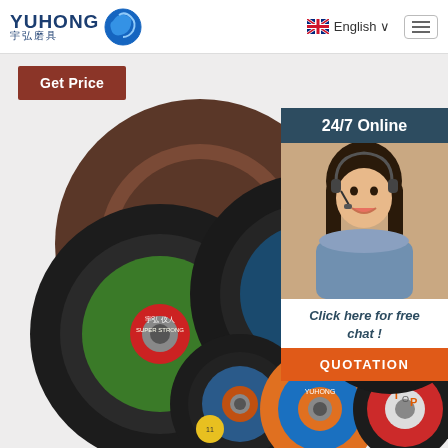YUHONG 宇弘磨具 | English
[Figure (logo): Yuhong abrasives logo with blue wave/globe icon, text YUHONG in dark blue and Chinese characters 宇弘磨具]
English
Get Price
24/7 Online
[Figure (photo): Various grinding and cutting discs/wheels arranged together: large brown grinding wheel, black cutting discs with green/red labels, smaller flap discs with orange and blue labels, and discs with New brand labeling]
[Figure (photo): Customer service representative woman wearing headset, smiling]
Click here for free chat !
QUOTATION